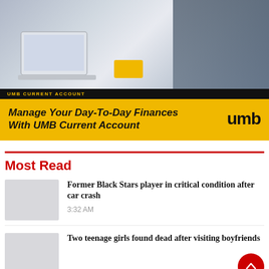[Figure (photo): Advertisement banner for UMB Current Account showing a laptop and credit card on a desk with a person in a suit in the background. Bottom section has black label bar and yellow main bar with bold italic text and UMB logo.]
Most Read
Former Black Stars player in critical condition after car crash
3:32 AM
Two teenage girls found dead after visiting boyfriends